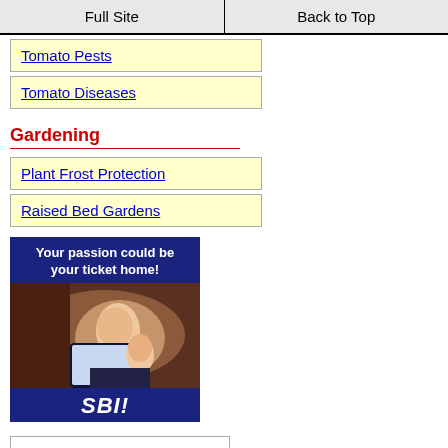Full Site | Back to Top
Tomato Pests
Tomato Diseases
Gardening
Plant Frost Protection
Raised Bed Gardens
[Figure (photo): SBI banner advertisement: woman with baby at computer, text 'Your passion could be your ticket home!' with SBI! logo]
[?] Subscribe To This Site
[Figure (logo): RSS feed button]